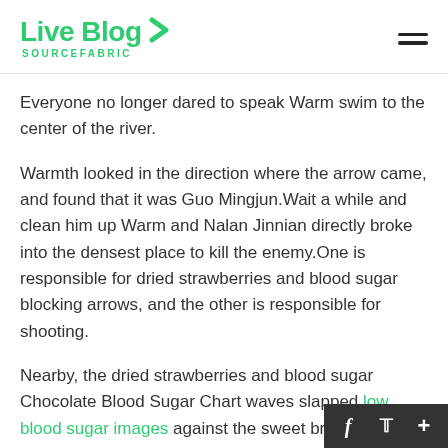Live Blog SOURCEFABRIC
Everyone no longer dared to speak Warm swim to the center of the river.
Warmth looked in the direction where the arrow came, and found that it was Guo Mingjun.Wait a while and clean him up Warm and Nalan Jinnian directly broke into the densest place to kill the enemy.One is responsible for dried strawberries and blood sugar blocking arrows, and the other is responsible for shooting.
Nearby, the dried strawberries and blood sugar Chocolate Blood Sugar Chart waves slapped low blood sugar images against the sweet breath high blood sugar blood sugar 89 1 hour after dinner rocks, and the waves were dried strawberries and blood sugar so realistic that ev…